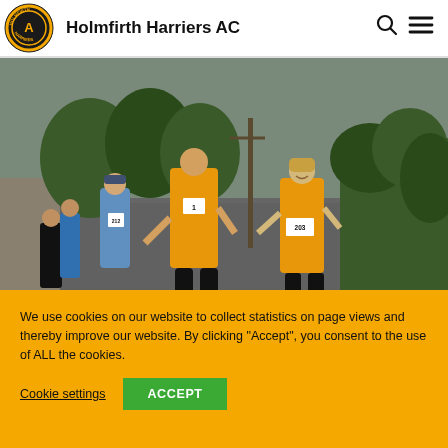Holmfirth Harriers AC
[Figure (photo): Runners in yellow/gold Holmfirth Harriers vests racing on a wet rural road. Bib numbers visible: 1, 212, 203. Overcast, rainy day, stone wall and hedgerow in background.]
We use cookies on our website to collect statistics on page views and thereby improve our website. By clicking "Accept", you consent to the use of ALL the cookies.
Cookie settings
ACCEPT